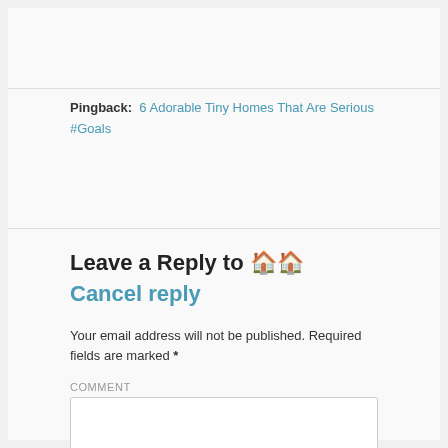Pingback: 6 Adorable Tiny Homes That Are Serious #Goals
Leave a Reply to 🏠🏠 Cancel reply
Your email address will not be published. Required fields are marked *
COMMENT